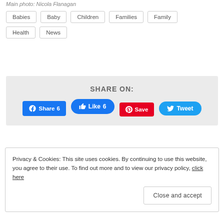Main photo: Nicola Flanagan
Babies
Baby
Children
Families
Family
Health
News
SHARE ON:
[Figure (infographic): Social share buttons: Facebook Share 6, Like 6, Pinterest Save, Twitter Tweet]
Privacy & Cookies: This site uses cookies. By continuing to use this website, you agree to their use. To find out more and to view our privacy policy, click here
Close and accept